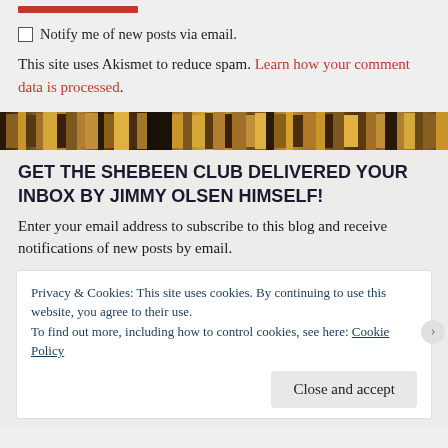[Figure (other): Orange/red submit button bar at top, partially cropped]
Notify me of new posts via email.
This site uses Akismet to reduce spam. Learn how your comment data is processed.
[Figure (photo): A horizontal banner photograph of a shelf of old books with colorful spines]
GET THE SHEBEEN CLUB DELIVERED YOUR INBOX BY JIMMY OLSEN HIMSELF!
Enter your email address to subscribe to this blog and receive notifications of new posts by email.
Privacy & Cookies: This site uses cookies. By continuing to use this website, you agree to their use.
To find out more, including how to control cookies, see here: Cookie Policy
Close and accept